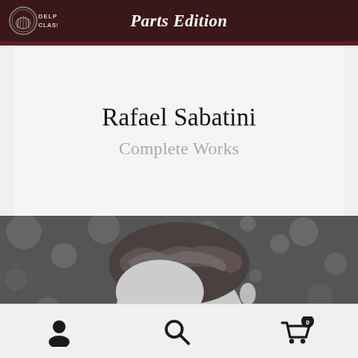Parts Edition
Rafael Sabatini
Complete Works
[Figure (photo): Black and white photograph showing the top and back of a man's head with wavy grey hair, against a blurred bokeh background.]
Navigation bar with user account icon, search icon, and shopping cart icon with badge showing 0